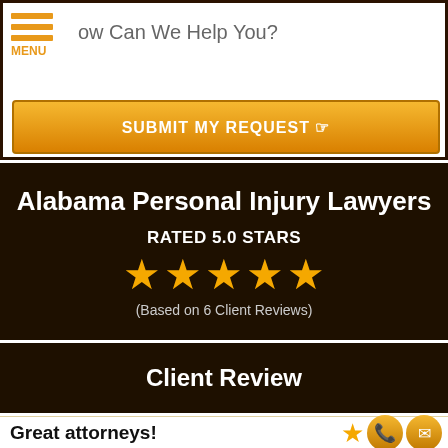How Can We Help You?
SUBMIT MY REQUEST
Alabama Personal Injury Lawyers
RATED 5.0 STARS
(Based on 6 Client Reviews)
Client Review
Great attorneys!